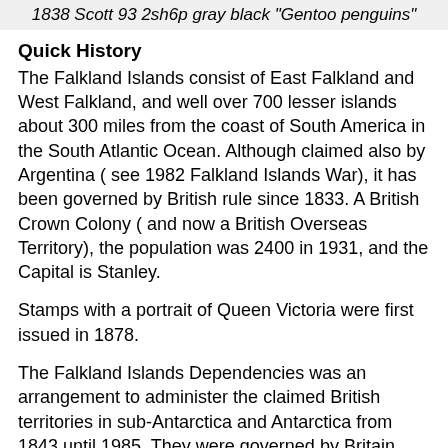1838 Scott 93 2sh6p gray black "Gentoo penguins"
Quick History
The Falkland Islands consist of East Falkland and West Falkland, and well over 700 lesser islands about 300 miles from the coast of South America in the South Atlantic Ocean. Although claimed also by Argentina ( see 1982 Falkland Islands War), it has been governed by British rule since 1833. A British Crown Colony ( and now a British Overseas Territory), the population was 2400 in 1931, and the Capital is Stanley.
Stamps with a portrait of Queen Victoria were first issued in 1878.
The Falkland Islands Dependencies was an arrangement to administer the claimed British territories in sub-Antarctica and Antarctica from 1843 until 1985. They were governed by Britain through the Falkland Islands Government. The Dependencies really are not inhabited, except for base and research personnel. Overprinted 1938 Falkland Island stamps were issued in 1944 for Graham Land ( on the Antarctic Peninsula), South Georgia (a former distinct colony)